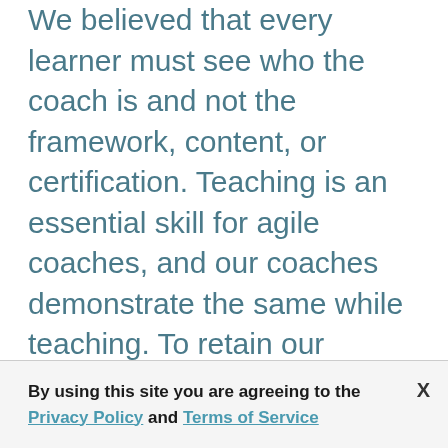We believed that every learner must see who the coach is and not the framework, content, or certification. Teaching is an essential skill for agile coaches, and our coaches demonstrate the same while teaching. To retain our values, we don't engage 3rd party or outside trainers to do business. Teaching is a way to communicate the values that we bring to an organization. We are a group of 6 coaches, and all have unique skills and share a shared vision and goal. You can read more about them on our website.
By using this site you are agreeing to the Privacy Policy and Terms of Service